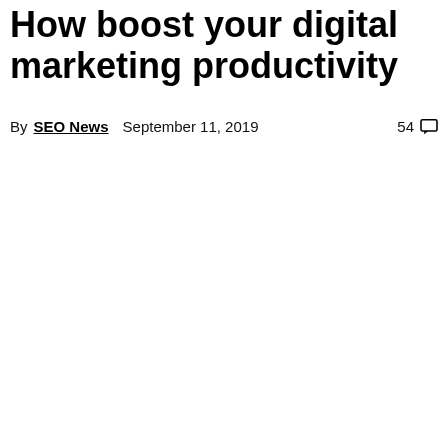How boost your digital marketing productivity
By SEO News   September 11, 2019   54